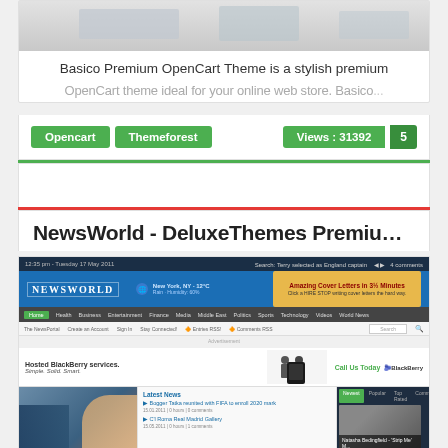Basico Premium OpenCart Theme is a stylish premium OpenCart theme ideal for your online web store. Basico...
Opencart  Themeforest  Views : 31392  5
NewsWorld - DeluxeThemes Premiu...
[Figure (screenshot): Screenshot of NewsWorld website theme showing a news portal with blue header, NEWSWORLD logo, navigation bar, BlackBerry advertisement banner, and news content columns with images]